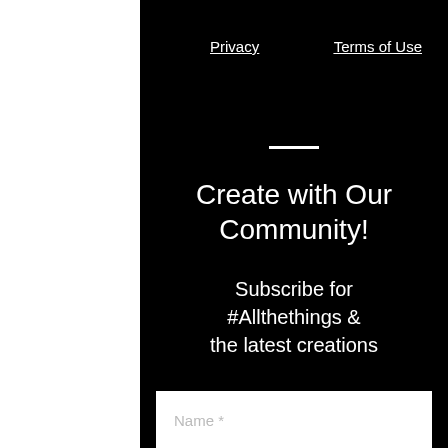Privacy
Terms of Use
Create with Our Community!
Subscribe for #Allthethings & the latest creations
Name *
Email *